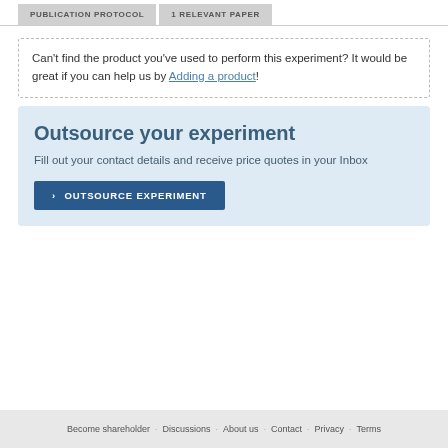PUBLICATION PROTOCOL | 1 RELEVANT PAPER
Can't find the product you've used to perform this experiment? It would be great if you can help us by Adding a product!
Outsource your experiment
Fill out your contact details and receive price quotes in your Inbox
> OUTSOURCE EXPERIMENT
Become shareholder · Discussions · About us · Contact · Privacy · Terms